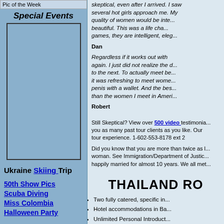Pic of the Week
Special Events
[Figure (photo): Empty image box placeholder for Special Events photo]
Ukraine Skiing Trip
50th Show Pics
Scuba Diving
Miss Colombia
Halloween Party
skeptical, even after I arrived. I saw several hot girls approach me. My quality of women would be intelligent, beautiful. This was a life changing games, they are intelligent, eleg...
Dan
Regardless if it works out with again. I just did not realize the d to the next. To actually meet be it was refreshing to meet wome penis with a wallet. And the bes than the women I meet in Ameri
Robert
Still Skeptical? View over 500 video testimonials. Speak with you as many past tour clients as you like. Our tour experience. 1-602-553-8178 ext 2
Did you know that you are more than twice as likely to find a woman. See Immigration/Department of Justice happily married for almost 10 years. We all met
THAILAND RO
Two fully catered, specific in
Hotel accommodations in Ba
Unlimited Personal Introduct
Complimentary interpreters